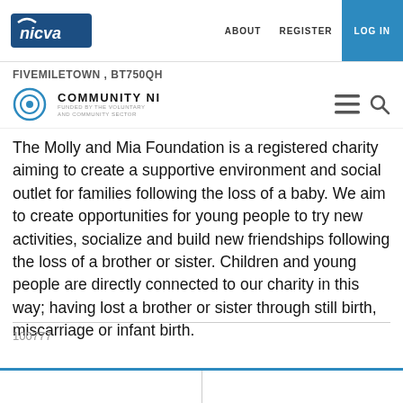NICVA | ABOUT | REGISTER | LOG IN
COMMUNITY NI
FIVEMILETOWN , BT750QH
The Molly and Mia Foundation is a registered charity aiming to create a supportive environment and social outlet for families following the loss of a baby. We aim to create opportunities for young people to try new activities, socialize and build new friendships following the loss of a brother or sister. Children and young people are directly connected to our charity in this way; having lost a brother or sister through still birth, miscarriage or infant birth.
100777